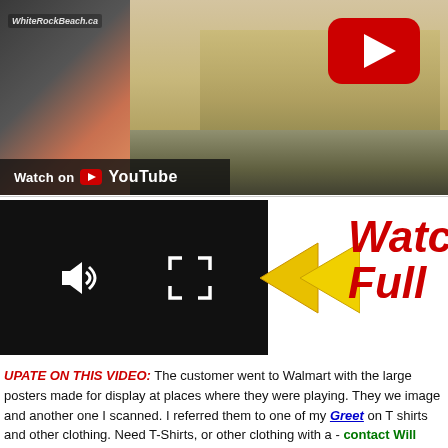[Figure (screenshot): YouTube video thumbnail showing people on a stage, with a WhiteRockBeach.ca watermark and a YouTube play button overlay. Bottom-left shows 'Watch on YouTube' in a dark overlay bar.]
[Figure (screenshot): Video player controls panel (black background) showing speaker/volume icon and fullscreen icon, with yellow/gold left-pointing triangles, and bold red italic text 'Watch Full' on the right.]
UPATE ON THIS VIDEO: The customer went to Walmart with the large posters made for display at places where they were playing. They we image and another one I scanned. I referred them to one of my Greet on T shirts and other clothing. Need T-Shirts, or other clothing with a - contact Will @ Ethical Addiction Apparel and mention the The Pho referred you.